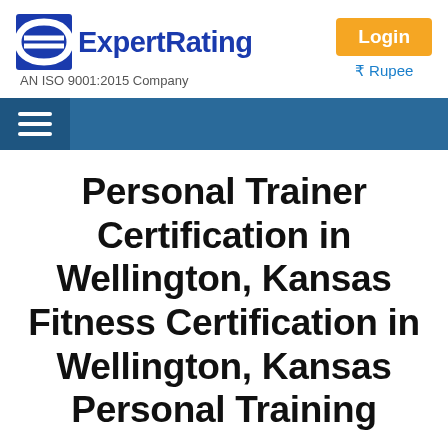[Figure (logo): ExpertRating logo with blue stylized E icon and bold blue text 'ExpertRating', subtitle 'AN ISO 9001:2015 Company']
Login
₹ Rupee
Navigation bar with hamburger menu icon
Personal Trainer Certification in Wellington, Kansas Fitness Certification in Wellington, Kansas Personal Training